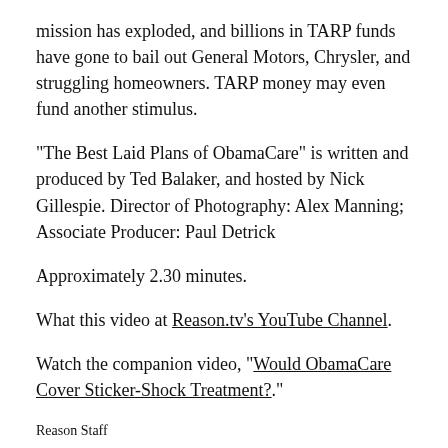mission has exploded, and billions in TARP funds have gone to bail out General Motors, Chrysler, and struggling homeowners. TARP money may even fund another stimulus.
"The Best Laid Plans of ObamaCare" is written and produced by Ted Balaker, and hosted by Nick Gillespie. Director of Photography: Alex Manning; Associate Producer: Paul Detrick
Approximately 2.30 minutes.
What this video at Reason.tv's YouTube Channel.
Watch the companion video, "Would ObamaCare Cover Sticker-Shock Treatment?."
Reason Staff